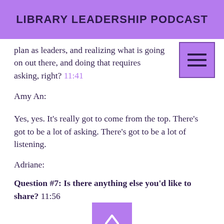LIBRARY LEADERSHIP PODCAST
plan as leaders, and realizing what is going on out there, and doing that requires asking, right? 11:41
Amy An:
Yes, yes. It's really got to come from the top. There's got to be a lot of asking. There's got to be a lot of listening.
Adriane:
Question #7: Is there anything else you'd like to share? 11:56